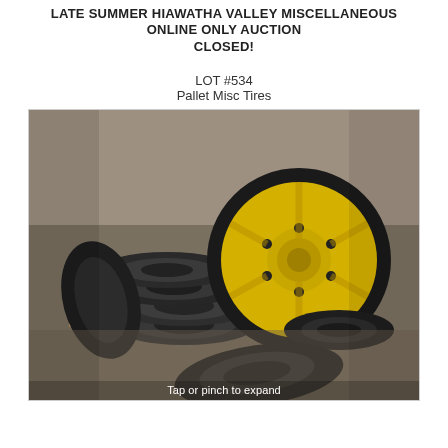LATE SUMMER HIAWATHA VALLEY MISCELLANEOUS ONLINE ONLY AUCTION CLOSED!
LOT #534
Pallet Misc Tires
[Figure (photo): A pallet of miscellaneous tires outdoors on gravel. On the left side are several small black rubber tires stacked on a wooden pallet. On the right is a large yellow metal wheel rim standing upright, with another tire and rim behind it. In the foreground is a single loose tire laying flat.]
Tap or pinch to expand